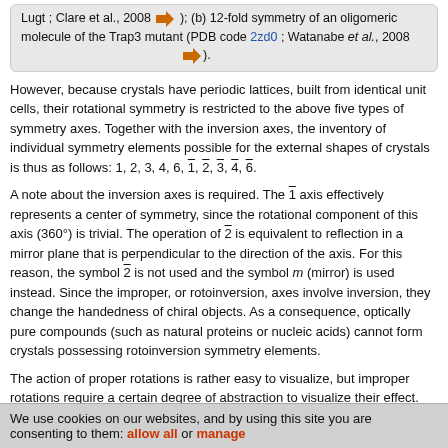Lugt; Clare et al., 2008 [arrow]); (b) 12-fold symmetry of an oligomeric molecule of the Trap3 mutant (PDB code 2zd0; Watanabe et al., 2008 [arrow]).
However, because crystals have periodic lattices, built from identical unit cells, their rotational symmetry is restricted to the above five types of symmetry axes. Together with the inversion axes, the inventory of individual symmetry elements possible for the external shapes of crystals is thus as follows: 1, 2, 3, 4, 6, 1̄, 2̄, 3̄, 4̄, 6̄.
A note about the inversion axes is required. The 1̄ axis effectively represents a center of symmetry, since the rotational component of this axis (360°) is trivial. The operation of 2̄ is equivalent to reflection in a mirror plane that is perpendicular to the direction of the axis. For this reason, the symbol 2̄ is not used and the symbol m (mirror) is used instead. Since the improper, or rotoinversion, axes involve inversion, they change the handedness of chiral objects. As a consequence, optically pure compounds (such as natural proteins or nucleic acids) cannot form crystals possessing rotoinversion symmetry elements.
The action of proper rotations is rather easy to visualize, but improper rotations require a certain degree of abstraction to visualize their effect. For a chemist, it may be instructive to analyze the transformations of the molecule of methane, CH4, illustrated in Fig. 4 [arrow]
We use cookies on our websites, and by using this site you are consenting to them: allow all or manage